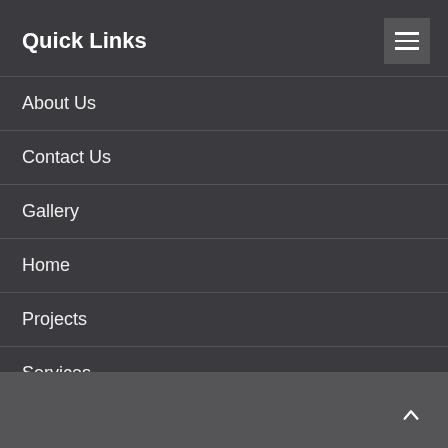Quick Links
About Us
Contact Us
Gallery
Home
Projects
Services